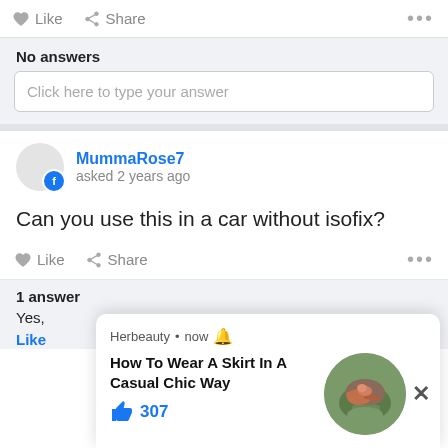Like  Share  ...
No answers
Click here to type your answer
MummaRose7 asked 2 years ago
Can you use this in a car without isofix?
Like  Share  ...
1 answer
Yes,
Like
[Figure (screenshot): Herbeauty ad overlay with title 'How To Wear A Skirt In A Casual Chic Way', 307 likes, circular photo of person on grass, close button X]